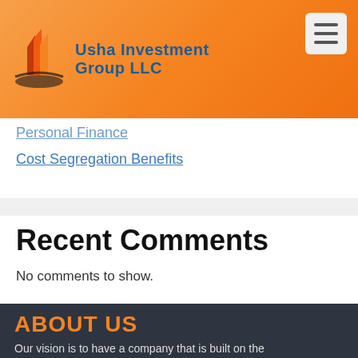Usha Investment Group LLC
Personal Finance
Cost Segregation Benefits
Recent Comments
No comments to show.
ABOUT US
Our vision is to have a company that is built on the